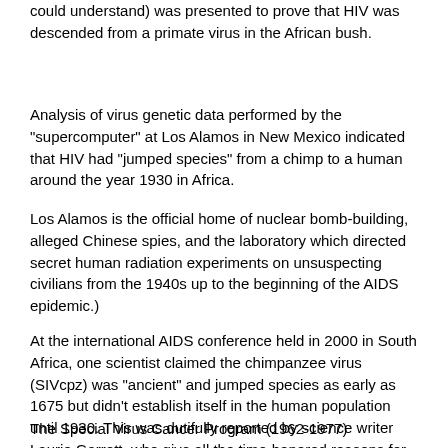could understand) was presented to prove that HIV was descended from a primate virus in the African bush.
Analysis of virus genetic data performed by the "supercomputer" at Los Alamos in New Mexico indicated that HIV had "jumped species" from a chimp to a human around the year 1930 in Africa.
Los Alamos is the official home of nuclear bomb-building, alleged Chinese spies, and the laboratory which directed secret human radiation experiments on unsuspecting civilians from the 1940s up to the beginning of the AIDS epidemic.)
At the international AIDS conference held in 2000 in South Africa, one scientist claimed the chimpanzee virus (SIVcpz) was "ancient" and jumped species as early as 1675 but didn't establish itself in the human population until 1930. This was dutifully reported by science writer Laurie Garrett, who give all the time-honored reasons for the rapid spread of AIDS in Africa: non-sterile needles, non-sterile blood products and widespread promiscuous sexual behavior.
The Special Virus Cancer Program (1962-1977)